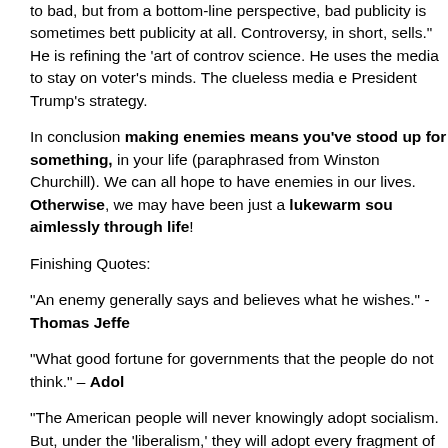to bad, but from a bottom-line perspective, bad publicity is sometimes better than no publicity at all. Controversy, in short, sells." He is refining the 'art of controversy' to a science. He uses the media to stay on voter's minds. The clueless media enables President Trump's strategy.
In conclusion making enemies means you've stood up for something, in your life (paraphrased from Winston Churchill). We can all hope to have enemies in our lives. Otherwise, we may have been just a lukewarm soul wandering aimlessly through life!
Finishing Quotes:
"An enemy generally says and believes what he wishes." - Thomas Jefferson
"What good fortune for governments that the people do not think." – Adolf Hitler
"The American people will never knowingly adopt socialism. But, under the name of 'liberalism,' they will adopt every fragment of the socialist program, until one day America will be a socialist nation, without knowing how it happened." – Norman Thomas (U.S. Socialist Presidential Candidate in the early 1900's)
The U.S. citizens vs. socialism battle cannot be won without making enemies. Land owners must support the enemy making President Donald Trump and the massive Democrat voter fraud behind the huge number of illegal immigrants. Voter fraud disheartens land-owning, average voters. All we